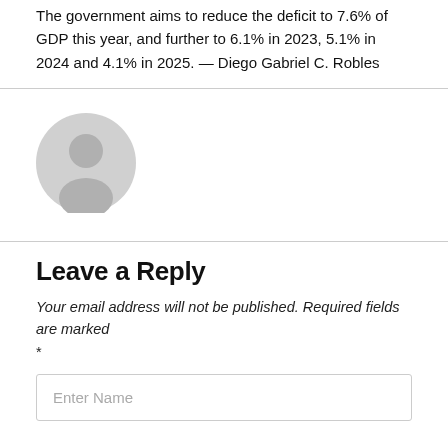The government aims to reduce the deficit to 7.6% of GDP this year, and further to 6.1% in 2023, 5.1% in 2024 and 4.1% in 2025. — Diego Gabriel C. Robles
[Figure (illustration): Generic user avatar icon — a grey circular silhouette with person outline on white background]
Leave a Reply
Your email address will not be published. Required fields are marked *
Enter Name